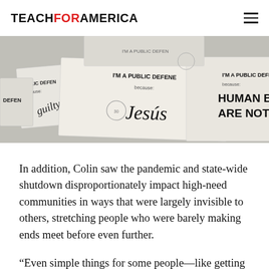TEACH FOR AMERICA
[Figure (photo): Photograph of multiple paper signs reading 'I'M A PUBLIC DEFENDER because:' with handwritten responses including 'Jesús' and 'HUMAN BEING ARE NOT...' overlapping each other on a table.]
In addition, Colin saw the pandemic and state-wide shutdown disproportionately impact high-need communities in ways that were largely invisible to others, stretching people who were barely making ends meet before even further.
“Even simple things for some people—like getting a stimulus check—require hoop-jumping that’s hard for a lot of folks,” he says. “If you didn’t pay